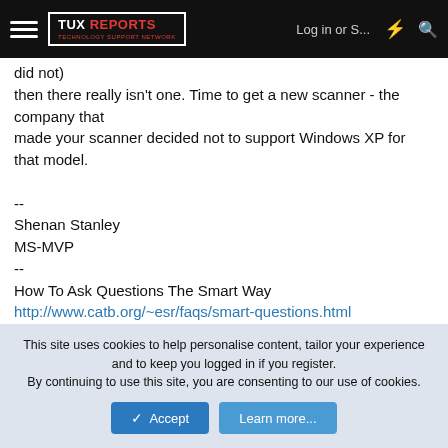TUX REPORTS | Log in or S... | [lightning icon] | [search icon]
did not)
then there really isn't one. Time to get a new scanner - the company that
made your scanner decided not to support Windows XP for that model.

--
Shenan Stanley
MS-MVP
--
How To Ask Questions The Smart Way
http://www.catb.org/~esr/faqs/smart-questions.html
Paul
Flightless Bird
This site uses cookies to help personalise content, tailor your experience and to keep you logged in if you register.
By continuing to use this site, you are consenting to our use of cookies.